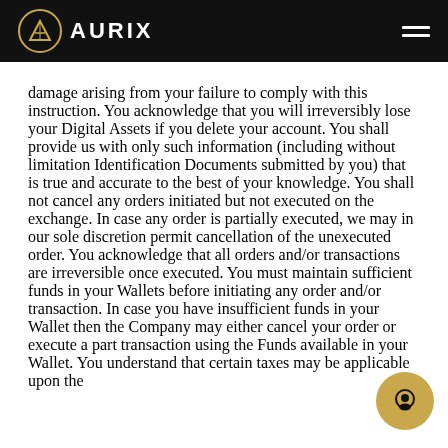AURIX
damage arising from your failure to comply with this instruction. You acknowledge that you will irreversibly lose your Digital Assets if you delete your account. You shall provide us with only such information (including without limitation Identification Documents submitted by you) that is true and accurate to the best of your knowledge. You shall not cancel any orders initiated but not executed on the exchange. In case any order is partially executed, we may in our sole discretion permit cancellation of the unexecuted order. You acknowledge that all orders and/or transactions are irreversible once executed. You must maintain sufficient funds in your Wallets before initiating any order and/or transaction. In case you have insufficient funds in your Wallet then the Company may either cancel your order or execute a part transaction using the Funds available in your Wallet. You understand that certain taxes may be applicable upon the